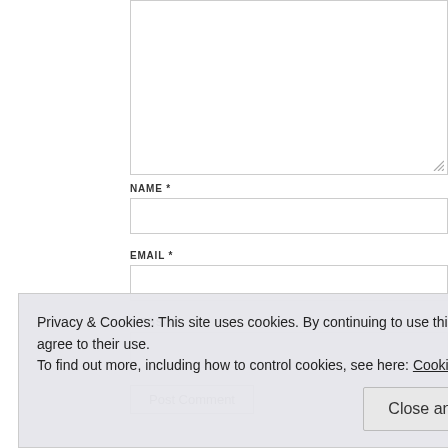[Figure (screenshot): Comment form textarea input box, partially visible at top]
NAME *
[Figure (screenshot): Name input field]
EMAIL *
[Figure (screenshot): Email input field]
WEBSITE
[Figure (screenshot): Website input field]
Post Comment
Privacy & Cookies: This site uses cookies. By continuing to use this website, you agree to their use. To find out more, including how to control cookies, see here: Cookie Policy
Close and accept